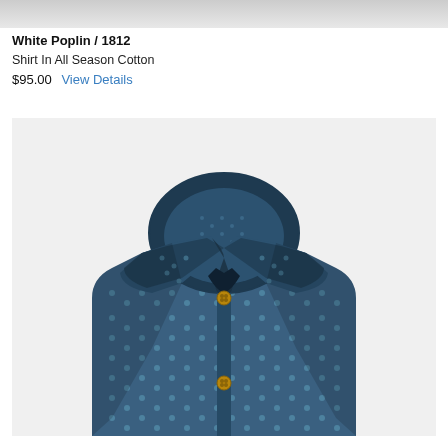[Figure (photo): Top portion of a previous product photo, partially visible as a gray strip at the top]
White Poplin / 1812
Shirt In All Season Cotton
$95.00  View Details
[Figure (photo): Folded navy blue dress shirt with small white dot/diamond pattern, button-down collar with gold buttons, displayed against a light gray background]